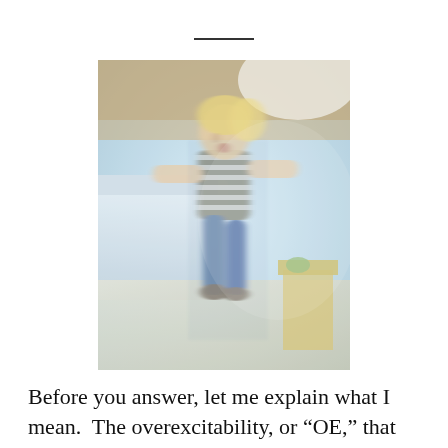[Figure (photo): A motion-blurred photograph of a young child with blonde hair, wearing a striped shirt and jeans, jumping or running energetically in a room with a bed and furniture visible in the background. The image has a dreamlike, blurred quality suggesting movement and energy.]
Before you answer, let me explain what I mean.  The overexcitability, or “OE,” that I’m